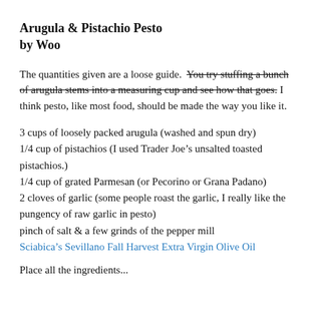Arugula & Pistachio Pesto by Woo
The quantities given are a loose guide. You try stuffing a bunch of arugula stems into a measuring cup and see how that goes. I think pesto, like most food, should be made the way you like it.
3 cups of loosely packed arugula (washed and spun dry)
1/4 cup of pistachios (I used Trader Joe’s unsalted toasted pistachios.)
1/4 cup of grated Parmesan (or Pecorino or Grana Padano)
2 cloves of garlic (some people roast the garlic, I really like the pungency of raw garlic in pesto)
pinch of salt & a few grinds of the pepper mill
Sciabica’s Sevillano Fall Harvest Extra Virgin Olive Oil
Place all the ingredients...